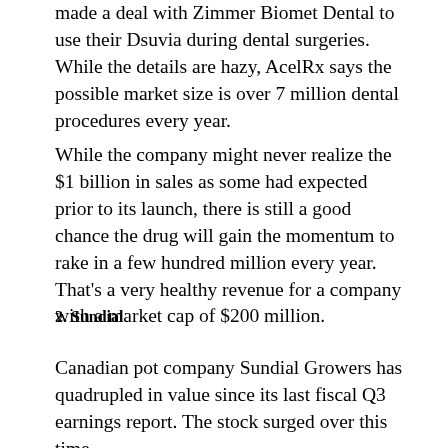worth up to $35 million. Second, the company made a deal with Zimmer Biomet Dental to use their Dsuvia during dental surgeries. While the details are hazy, AcelRx says the possible market size is over 7 million dental procedures every year.
While the company might never realize the $1 billion in sales as some had expected prior to its launch, there is still a good chance the drug will gain the momentum to rake in a few hundred million every year. That's a very healthy revenue for a company with a market cap of $200 million.
2. Sundial
Canadian pot company Sundial Growers has quadrupled in value since its last fiscal Q3 earnings report. The stock surged over this time